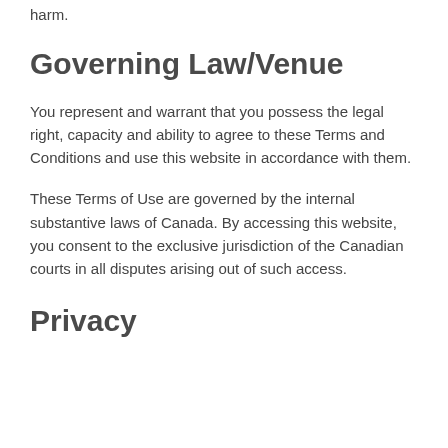harm.
Governing Law/Venue
You represent and warrant that you possess the legal right, capacity and ability to agree to these Terms and Conditions and use this website in accordance with them.
These Terms of Use are governed by the internal substantive laws of Canada. By accessing this website, you consent to the exclusive jurisdiction of the Canadian courts in all disputes arising out of such access.
Privacy